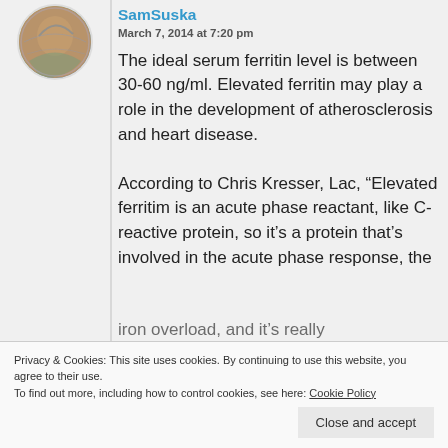[Figure (photo): Circular avatar photo of user SamSuska, showing a person with an earth/globe overlay]
SamSuska
March 7, 2014 at 7:20 pm
The ideal serum ferritin level is between 30-60 ng/ml. Elevated ferritin may play a role in the development of atherosclerosis and heart disease.
According to Chris Kresser, Lac, “Elevated ferritim is an acute phase reactant, like C-reactive protein, so it’s a protein that’s involved in the acute phase response, the
iron overload, and it’s really
Privacy & Cookies: This site uses cookies. By continuing to use this website, you agree to their use.
To find out more, including how to control cookies, see here: Cookie Policy
Close and accept